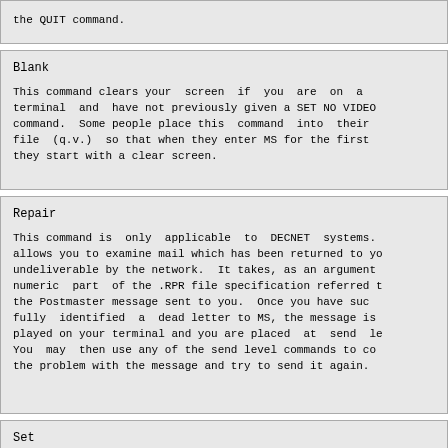the QUIT command.
Blank
This command clears your  screen  if  you  are  on  a terminal  and  have not previously given a SET NO VIDEO command.  Some people place this  command  into  their file  (q.v.)  so that when they enter MS for the first they start with a clear screen.
Repair
This command is  only  applicable  to  DECNET  systems. allows you to examine mail which has been returned to yo undeliverable by the network.  It takes, as an argument numeric  part  of the .RPR file specification referred t the Postmaster message sent to you.  Once you have suc fully  identified  a  dead letter to MS, the message is played on your terminal and you are placed  at  send  le You  may  then use any of the send level commands to co the problem with the message and try to send it again.
Set
The SET commands allow you to alter many of the  assum